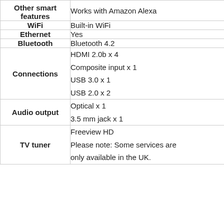| Feature | Value |
| --- | --- |
| Other smart features | Works with Amazon Alexa |
| WiFi | Built-in WiFi |
| Ethernet | Yes |
| Bluetooth | Bluetooth 4.2 |
| Connections | HDMI 2.0b x 4
Composite input x 1
USB 3.0 x 1
USB 2.0 x 2 |
| Audio output | Optical x 1
3.5 mm jack x 1 |
| TV tuner | Freeview HD
Please note: Some services are only available in the UK. |